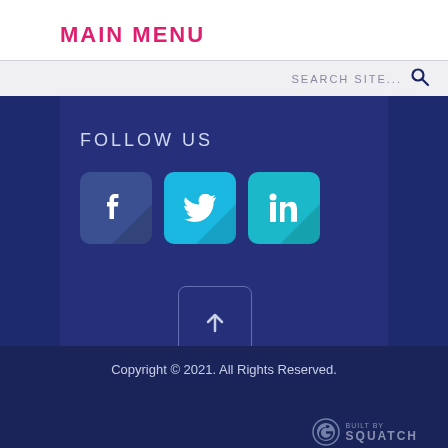MAIN MENU
SEARCH SITE...
FOLLOW US
[Figure (infographic): Three social media icon buttons: Facebook (blue), Twitter (cyan), LinkedIn (teal), each with a flat shadow effect]
[Figure (infographic): Scroll-to-top button with upward arrow, outlined box on dark blue background]
Copyright © 2021. All Rights Reserved.
[Figure (logo): Built By Squatch logo with circular icon and text]